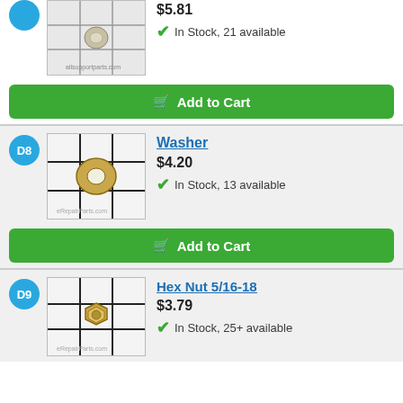[Figure (photo): Hex nut product photo with grid lines, small hex nut visible]
$5.81
In Stock, 21 available
Add to Cart
D8
[Figure (photo): Washer product photo with grid lines, gold washer visible]
Washer
$4.20
In Stock, 13 available
Add to Cart
D9
[Figure (photo): Hex Nut 5/16-18 product photo with grid lines, gold hex nut visible]
Hex Nut 5/16-18
$3.79
In Stock, 25+ available